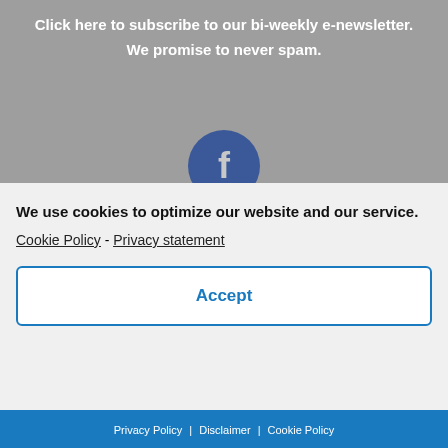Click here to subscribe to our bi-weekly e-newsletter.
We promise to never spam.
[Figure (illustration): Three social media icons stacked vertically: Facebook (dark blue circle with white 'f'), Twitter (light blue circle with white bird), YouTube (red circle with white 'You' text)]
We use cookies to optimize our website and our service.
Cookie Policy  -  Privacy statement
Accept
Privacy Policy | Disclaimer | Cookie Policy